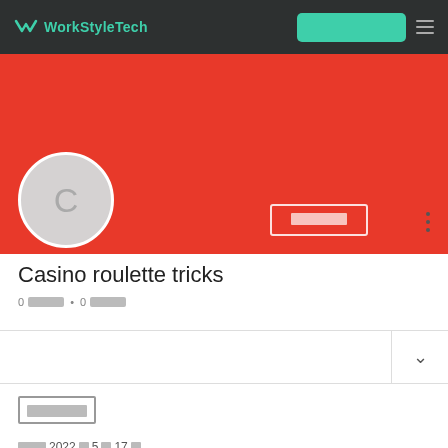WorkStyleTech [navigation bar with logo, teal button, and menu icon]
[Figure (screenshot): Red banner background with profile photo placeholder (circle with letter C), an edit button with garbled Japanese text, and a three-dot menu icon]
Casino roulette tricks
0 [garbled] • 0 [garbled]
[garbled block text] [date line: garbled 2022年5月17日]